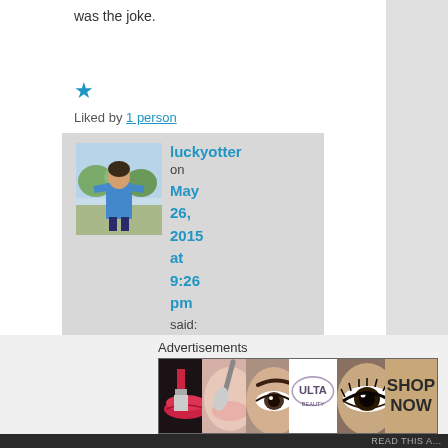was the joke.
★ Liked by 1 person
luckyotter on May 26, 2015 at 9:26 pm said:
I suspected you did. lol
Advertisements